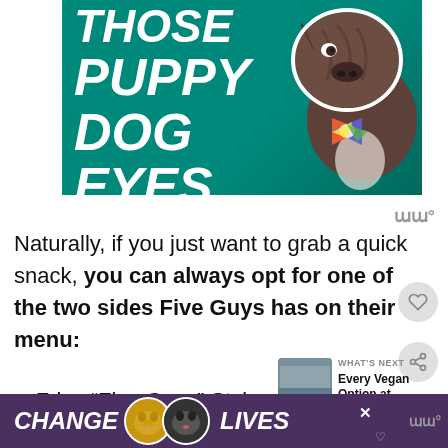[Figure (photo): Promotional graphic with teal/green background showing bold italic white text 'THOSE PUPPY DOG EYES' and a brindle dog wearing a colorful bowtie on the right side.]
Naturally, if you just want to grab a quick snack, you can always opt for one of the two sides Five Guys has on their menu:
Fries “Five Guys” Style
And Fries “Cajun” Style
[Figure (photo): Bottom advertisement banner with purple background showing two cat images and text 'CHANGE LIVES' in bold italic white text.]